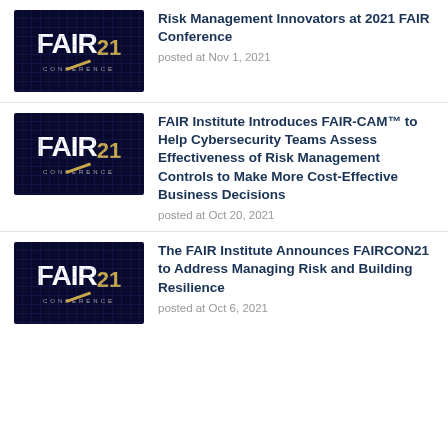[Figure (logo): FAIR 21 Conference logo on dark navy background with gold accents and grid overlay]
Risk Management Innovators at 2021 FAIR Conference
posted at Nov 1, 2021
[Figure (logo): FAIR 21 Conference logo on dark navy background with gold accents and grid overlay]
FAIR Institute Introduces FAIR-CAM™ to Help Cybersecurity Teams Assess Effectiveness of Risk Management Controls to Make More Cost-Effective Business Decisions
posted at Oct 20, 2021
[Figure (logo): FAIR 21 Conference logo on dark navy background with gold accents and grid overlay]
The FAIR Institute Announces FAIRCON21 to Address Managing Risk and Building Resilience
posted at Oct 6, 2021